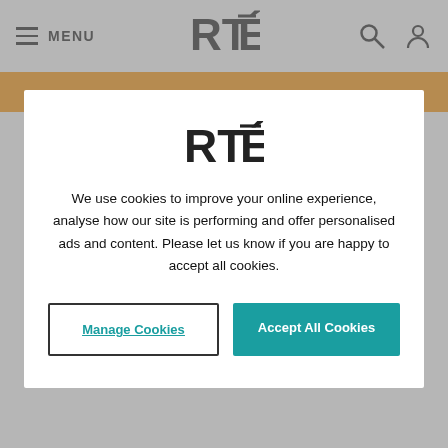MENU | RTÉ | Search | User
[Figure (screenshot): RTÉ website cookie consent modal overlay. Modal contains RTÉ logo, cookie consent message, and two buttons: 'Manage Cookies' and 'Accept All Cookies'. Background shows RTÉ website navigation bar with hamburger menu, RTÉ logo, search and user icons, and a partial orange accent bar.]
We use cookies to improve your online experience, analyse how our site is performing and offer personalised ads and content. Please let us know if you are happy to accept all cookies.
Manage Cookies
Accept All Cookies